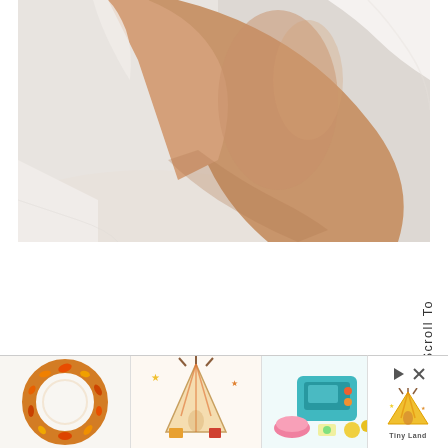[Figure (photo): Close-up photo of a person's arm and shoulder, wearing a white spaghetti-strap top, against a white background. The image is cropped, showing bare skin of the upper arm and a white fabric strap.]
Scroll To Top
[Figure (photo): Row of five small thumbnail images showing autumn/fall decorative wreaths, party decorations, and craft items in orange and teal colors.]
[Figure (advertisement): Advertisement block with play and close icons and a Tiny Land logo/tent graphic.]